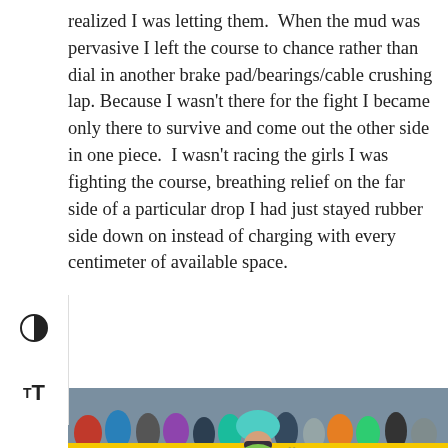realized I was letting them.  When the mud was pervasive I left the course to chance rather than dial in another brake pad/bearings/cable crushing lap. Because I wasn't there for the fight I became only there to survive and come out the other side in one piece.  I wasn't racing the girls I was fighting the course, breathing relief on the far side of a particular drop I had just stayed rubber side down on instead of charging with every centimeter of available space.
[Figure (photo): A cyclist in a colorful green/pink racing kit wearing a teal helmet carries a cyclocross bike up a grassy hill during a race. Spectators line the course in the background behind yellow BLAKLADER sponsor banners.]